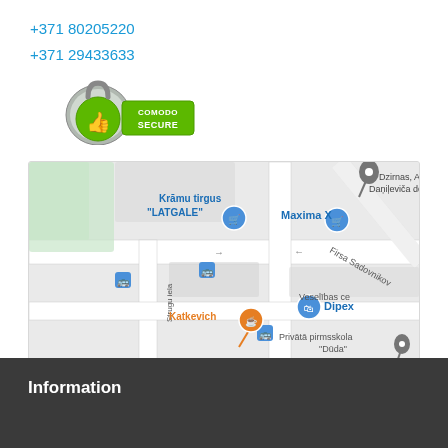+371 80205220
+371 29433633
[Figure (logo): Comodo Secure badge - green padlock with thumbs up icon and text COMODO SECURE]
[Figure (map): Google Maps screenshot showing area in Riga, Latvia with landmarks: Kramu tirgus LATGALE, Maxima X, Dzirnas A. Danilevica deju skola, Katkevich, Dipex, Privatā pirmsskola Duda, Veselibas ce, Firsa Sadovnikov street, Strugu iela. Bus stop icons visible.]
Information